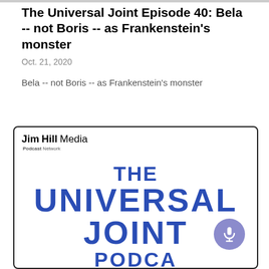The Universal Joint Episode 40: Bela -- not Boris -- as Frankenstein's monster
Oct. 21, 2020
Bela -- not Boris -- as Frankenstein's monster
[Figure (logo): Jim Hill Media Podcast Network logo with 'THE UNIVERSAL JOINT PODCAST' text in large blue bold letters]